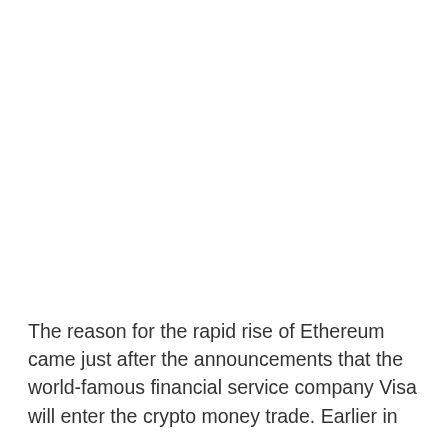The reason for the rapid rise of Ethereum came just after the announcements that the world-famous financial service company Visa will enter the crypto money trade. Earlier in